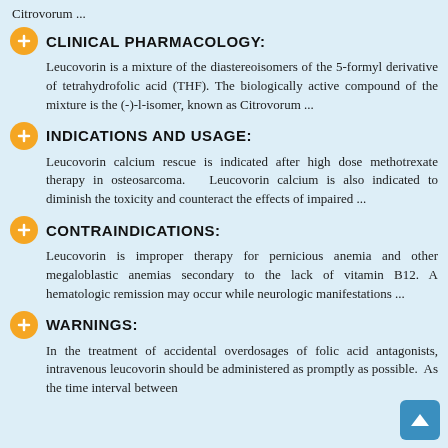Citrovorum ...
CLINICAL PHARMACOLOGY:
Leucovorin is a mixture of the diastereoisomers of the 5-formyl derivative of tetrahydrofolic acid (THF). The biologically active compound of the mixture is the (-)-l-isomer, known as Citrovorum ...
INDICATIONS AND USAGE:
Leucovorin calcium rescue is indicated after high dose methotrexate therapy in osteosarcoma.  Leucovorin calcium is also indicated to diminish the toxicity and counteract the effects of impaired ...
CONTRAINDICATIONS:
Leucovorin is improper therapy for pernicious anemia and other megaloblastic anemias secondary to the lack of vitamin B12. A hematologic remission may occur while neurologic manifestations ...
WARNINGS:
In the treatment of accidental overdosages of folic acid antagonists, intravenous leucovorin should be administered as promptly as possible.  As the time interval between